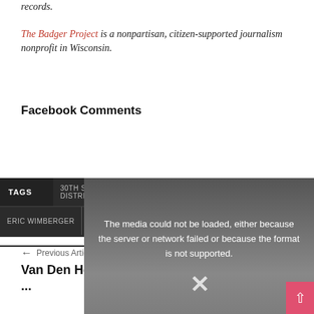records.
The Badger Project is a nonpartisan, citizen-supported journalism nonprofit in Wisconsin.
Facebook Comments
| TAGS | 30TH SENATE DISTRICT | DAVE HANSEN | DEMOCRATIC PARTY | ERIC WIMBERGER | GOP | JONATHON HANSEN |
| --- | --- | --- | --- | --- | --- | --- |
[Figure (screenshot): Media error overlay: 'The media could not be loaded, either because the server or network failed or because the format is not supported.' with an X close button.]
Previous Article
Van Den Heuvel faces Kinjerski for West ...